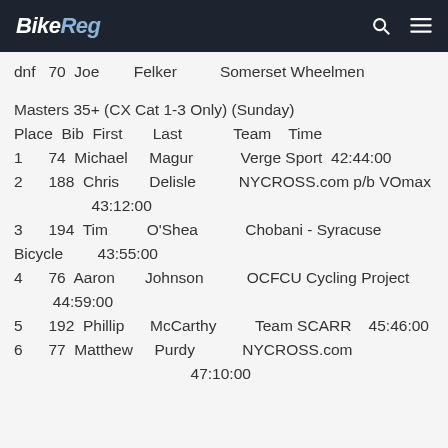BikeReg
dnf  70  Joe        Felker          Somerset Wheelmen
Masters 35+ (CX Cat 1-3 Only) (Sunday)
Place  Bib  First      Last            Team    Time
1    74  Michael    Magur           Verge Sport   42:44:00
2    188  Chris     Delisle         NYCROSS.com p/b VOmax              43:12:00
3    194  Tim       O'Shea          Chobani - Syracuse Bicycle         43:55:00
4    76  Aaron     Johnson         OCFCU Cycling Project              44:59:00
5    192  Phillip   McCarthy        Team SCARR    45:46:00
6    77  Matthew   Purdy           NYCROSS.com   47:10:00